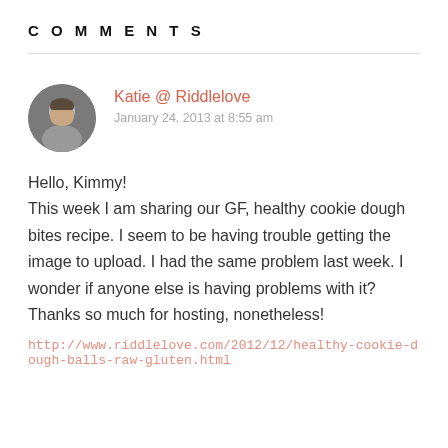COMMENTS
Katie @ Riddlelove
January 24, 2013 at 8:55 am
Hello, Kimmy!
This week I am sharing our GF, healthy cookie dough bites recipe. I seem to be having trouble getting the image to upload. I had the same problem last week. I wonder if anyone else is having problems with it? Thanks so much for hosting, nonetheless!
http://www.riddlelove.com/2012/12/healthy-cookie-dough-balls-raw-gluten.html